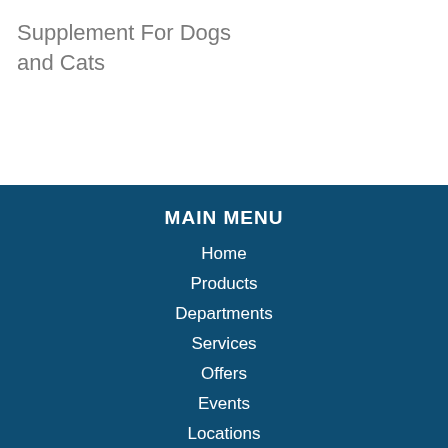Supplement For Dogs and Cats
MAIN MENU
Home
Products
Departments
Services
Offers
Events
Locations